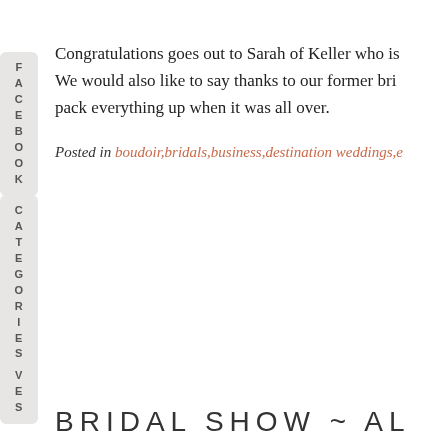FACEBOOK
Congratulations goes out to Sarah of Keller who is We would also like to say thanks to our former bri pack everything up when it was all over.
Posted in boudoir,bridals,business,destination weddings,e
ARCHIVES
CATEGORIES
BRIDAL SHOW ~ AL